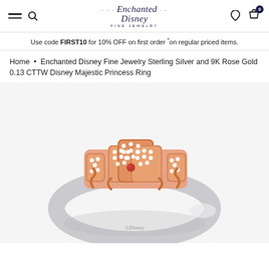Enchanted Disney Fine Jewelry — navigation header with hamburger, search, logo, wishlist, cart
Use code FIRST10 for 10% OFF on first order *on regular priced items.
Home • Enchanted Disney Fine Jewelry Sterling Silver and 9K Rose Gold 0.13 CTTW Disney Majestic Princess Ring
[Figure (photo): Product photo of Enchanted Disney Fine Jewelry Sterling Silver and 9K Rose Gold Disney Majestic Princess Ring. A silver band ring with a rose gold crown-shaped setting featuring small diamonds and a red gemstone center, with ©Disney engraved on the inside of the band.]